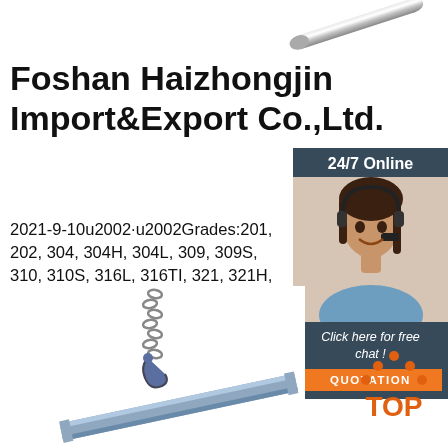[Figure (photo): Steel rod/bar photo at top right corner]
Foshan Haizhongjin Import&Export Co.,Ltd.
2021-9-10u2002·u2002Grades:201, 202, 304, 304H, 304L, 309, 309S, 310, 310S, 316L, 316TI, 321, 321H, 347, 409, 410, 420, 430, 441, 904L. Thickness:0.3 mm ~ mm Thk
[Figure (photo): Customer service agent with headset, 24/7 Online panel with quotation button]
[Figure (other): Get Price green button]
[Figure (photo): Crane lifting steel channel bar at bottom]
[Figure (logo): TOP logo with orange dots at bottom right]